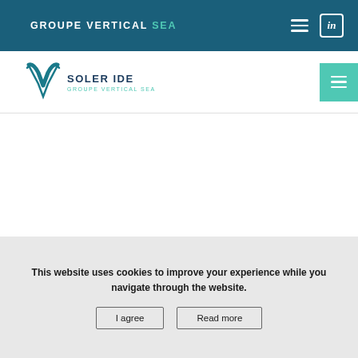GROUPE VERTICAL SEA
[Figure (logo): Soler IDE - Groupe Vertical SEA logo with teal V-check mark]
NEWS
This website uses cookies to improve your experience while you navigate through the website.
I agree
Read more